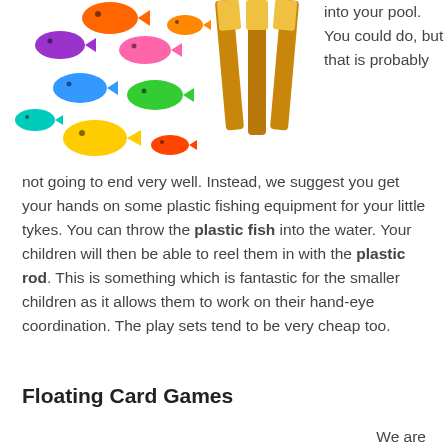[Figure (photo): Colorful plastic toy fish in various colors (orange, purple, pink, blue, green, yellow) scattered on white background, with yellow plastic fishing rods with brown handles arranged to the right.]
into your pool. You could do, but that is probably not going to end very well. Instead, we suggest you get your hands on some plastic fishing equipment for your little tykes. You can throw the plastic fish into the water. Your children will then be able to reel them in with the plastic rod. This is something which is fantastic for the smaller children as it allows them to work on their hand-eye coordination. The play sets tend to be very cheap too.
Floating Card Games
We are